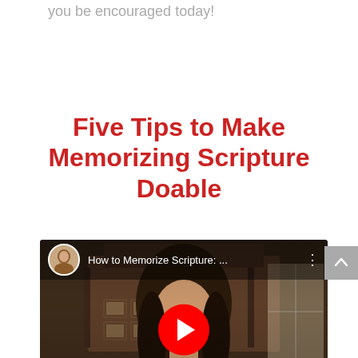you be encouraged today!
Five Tips to Make Memorizing Scripture Doable
[Figure (screenshot): YouTube video thumbnail showing a woman with long brown hair in a room. The video title reads 'How to Memorize Scripture: ...' with a channel avatar showing a woman's face, a three-dot menu icon, and a red YouTube play button in the center of the video.]